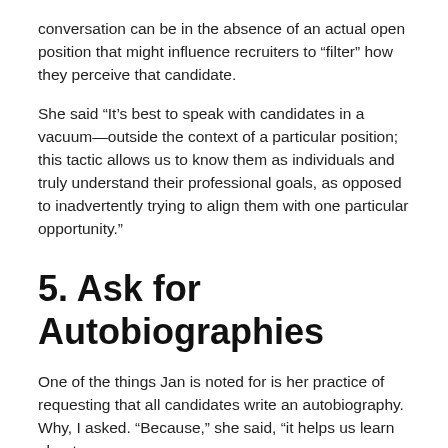conversation can be in the absence of an actual open position that might influence recruiters to “filter” how they perceive that candidate.
She said “It’s best to speak with candidates in a vacuum—outside the context of a particular position; this tactic allows us to know them as individuals and truly understand their professional goals, as opposed to inadvertently trying to align them with one particular opportunity.”
5. Ask for Autobiographies
One of the things Jan is noted for is her practice of requesting that all candidates write an autobiography. Why, I asked. “Because,” she said, “it helps us learn about